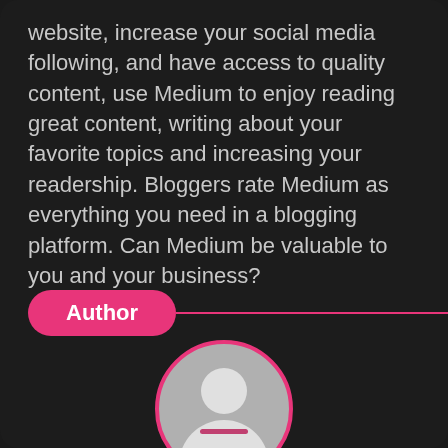website, increase your social media following, and have access to quality content, use Medium to enjoy reading great content, writing about your favorite topics and increasing your readership. Bloggers rate Medium as everything you need in a blogging platform. Can Medium be valuable to you and your business?
Author
[Figure (illustration): Circular avatar placeholder with pink border showing a generic person silhouette on grey background]
Article Editor